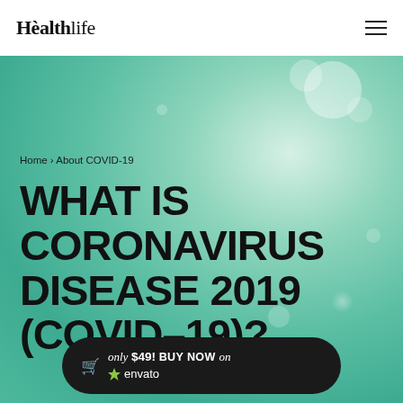Hèalthlife
[Figure (illustration): Green teal bokeh background hero image for a COVID-19 health article page]
Home › About COVID-19
WHAT IS CORONAVIRUS DISEASE 2019 (COVID–19)?
only $49! BUY NOW on envato